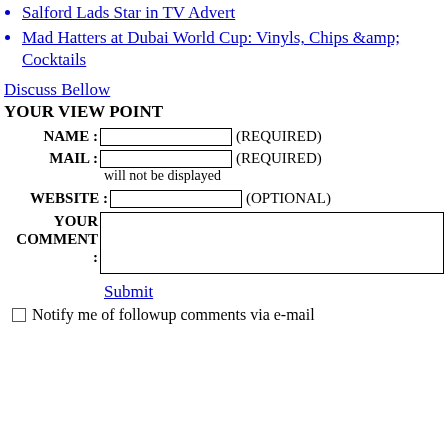Salford Lads Star in TV Advert
Mad Hatters at Dubai World Cup: Vinyls, Chips &amp; Cocktails
Discuss Bellow
YOUR VIEW POINT
NAME : (REQUIRED)
MAIL : (REQUIRED) will not be displayed
WEBSITE : (OPTIONAL)
YOUR COMMENT :
Submit
Notify me of followup comments via e-mail